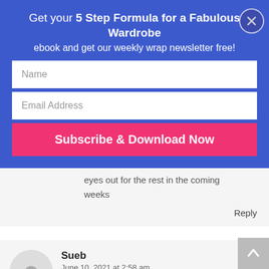Get your 5 Step Formula for a Fabulous Wardrobe ebook and get our weekly wrap newsletter free!
Name
Email Address
Subscribe & Download Now
eyes out for the rest in the coming weeks
Reply
Sueb
June 10, 2021 at 2:58 am
I have the Tranquil pallette that You recommended when I took your class,